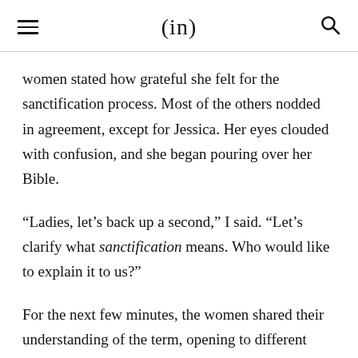(in)
women stated how grateful she felt for the sanctification process. Most of the others nodded in agreement, except for Jessica. Her eyes clouded with confusion, and she began pouring over her Bible.
“Ladies, let’s back up a second,” I said. “Let’s clarify what sanctification means. Who would like to explain it to us?”
For the next few minutes, the women shared their understanding of the term, opening to different passages in the New Testament to illustrate. At first